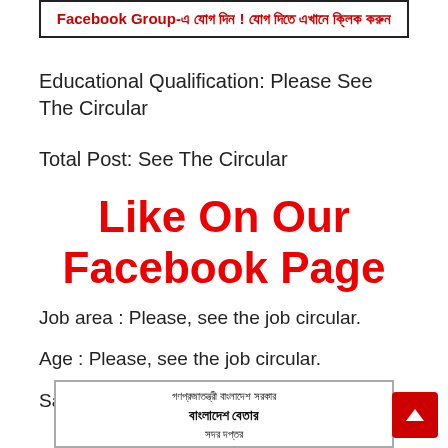[Figure (other): Banner box with Bengali text in red: Facebook Group-এ যোগ দিন ! যোগ দিতে এখানে ক্লিক করুন]
Educational Qualification: Please See The Circular
Total Post: See The Circular
Like On Our Facebook Page
Job area : Please, see the job circular.
Age : Please, see the job circular.
Salary : See the circular
[Figure (other): Bottom banner with Bengali text: গণপ্রজাতন্ত্রী বাংলাদেশ সরকার / বাংলাদেশ বেতার / সদর দপ্তর]